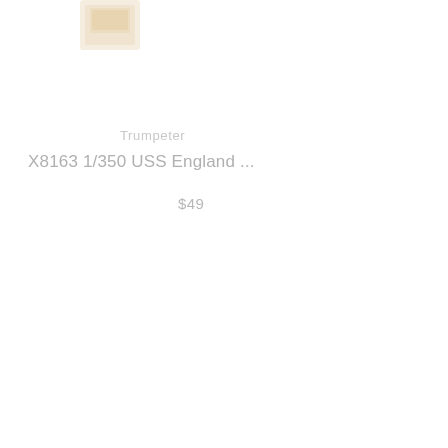[Figure (photo): Small product thumbnail image of a model kit box, faintly visible in the upper left area]
Trumpeter
X8163 1/350 USS England ...
$49